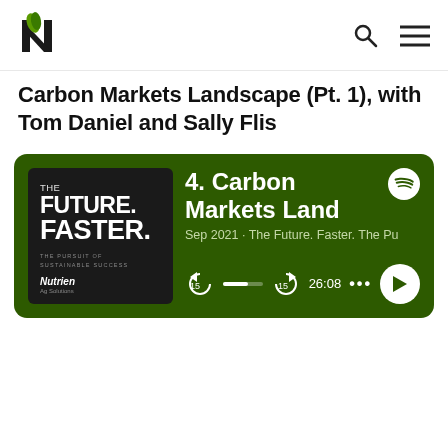Nutrien Ag Solutions logo, search icon, menu icon
Carbon Markets Landscape (Pt. 1), with Tom Daniel and Sally Flis
[Figure (screenshot): Spotify podcast player card showing episode '4. Carbon Markets Lanc' from Sep 2021 · The Future. Faster. The Pu, with a dark green background, podcast cover art on the left (THE FUTURE. FASTER. THE PURSUIT OF SUSTAINABLE SUCCESS with Nutrien Ag Solutions), Spotify logo top right, and audio controls showing 26:08 duration with a progress bar.]